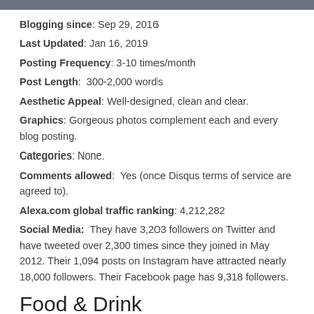Blogging since: Sep 29, 2016
Last Updated: Jan 16, 2019
Posting Frequency: 3-10 times/month
Post Length:  300-2,000 words
Aesthetic Appeal: Well-designed, clean and clear.
Graphics: Gorgeous photos complement each and every blog posting.
Categories: None.
Comments allowed:  Yes (once Disqus terms of service are agreed to).
Alexa.com global traffic ranking: 4,212,282
Social Media:  They have 3,203 followers on Twitter and have tweeted over 2,300 times since they joined in May 2012. Their 1,094 posts on Instagram have attracted nearly 18,000 followers. Their Facebook page has 9,318 followers.
Food & Drink
Even more than Brew Dr. who we'd noted as having a strong